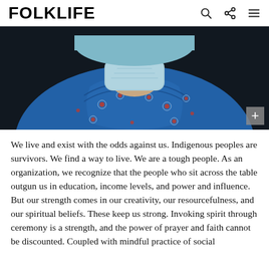FOLKLIFE
[Figure (photo): Close-up photo of a person wearing a light blue face mask and a blue floral-patterned shirt/blouse, photographed against a dark background. The photo is cropped to show the neck/chest area from below the chin.]
We live and exist with the odds against us. Indigenous peoples are survivors. We find a way to live. We are a tough people. As an organization, we recognize that the people who sit across the table outgun us in education, income levels, and power and influence. But our strength comes in our creativity, our resourcefulness, and our spiritual beliefs. These keep us strong. Invoking spirit through ceremony is a strength, and the power of prayer and faith cannot be discounted. Coupled with mindful practice of social distancing...